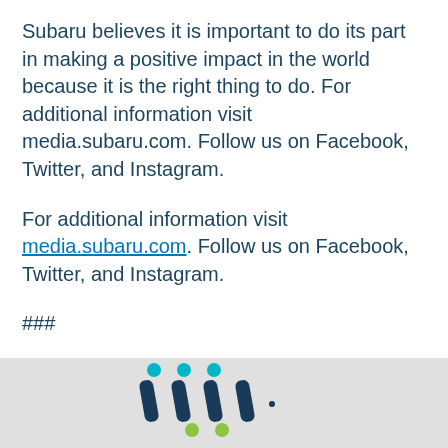Subaru believes it is important to do its part in making a positive impact in the world because it is the right thing to do. For additional information visit media.subaru.com. Follow us on Facebook, Twitter, and Instagram.
For additional information visit media.subaru.com. Follow us on Facebook, Twitter, and Instagram.
###
[Figure (logo): Maritz logo — stylized M shape with dot accents in teal, navy, and green]